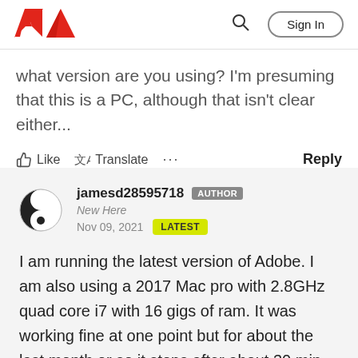Adobe community page header with logo, search, and Sign In button
what version are you using? I'm presuming that this is a PC, although that isn't clear either...
Like  Translate  ...  Reply
jamesd28595718  AUTHOR
New Here
Nov 09, 2021  LATEST
I am running the latest version of Adobe. I am also using a 2017 Mac pro with 2.8GHz quad core i7 with 16 gigs of ram. It was working fine at one point but for about the last month or so it stops after about 30 min.